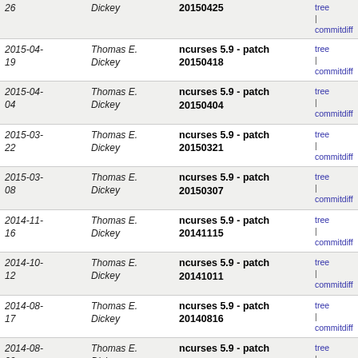| Date | Author | Commit message | Links |
| --- | --- | --- | --- |
| 26 | Dickey | 20150425 | tree | commitdiff |
| 2015-04-19 | Thomas E. Dickey | ncurses 5.9 - patch 20150418 | tree | commitdiff |
| 2015-04-04 | Thomas E. Dickey | ncurses 5.9 - patch 20150404 | tree | commitdiff |
| 2015-03-22 | Thomas E. Dickey | ncurses 5.9 - patch 20150321 | tree | commitdiff |
| 2015-03-08 | Thomas E. Dickey | ncurses 5.9 - patch 20150307 | tree | commitdiff |
| 2014-11-16 | Thomas E. Dickey | ncurses 5.9 - patch 20141115 | tree | commitdiff |
| 2014-10-12 | Thomas E. Dickey | ncurses 5.9 - patch 20141011 | tree | commitdiff |
| 2014-08-17 | Thomas E. Dickey | ncurses 5.9 - patch 20140816 | tree | commitdiff |
| 2014-08-09 | Thomas E. Dickey | ncurses 5.9 - patch 20140809 | tree | commitdiff |
| 2014-07-27 | Thomas E. Dickey | ncurses 5.9 - patch 20140726 | tree | commitdiff |
| 2014-06-07 | Thomas E. Dickey | ncurses 5.9 - patch 20140607 | tree | commitdiff |
| 2014-05-25 | Thomas E. Dickey | ncurses 5.9 - patch 20140524 | tree | commitdiff |
| 2014-03-30 | Thomas E. Dickey | ncurses 5.9 - patch 20140329 | tree | commitdiff |
| 2014-03-16 | Thomas E. Dickey | ncurses 5.9 - patch 20140315 | tree | commitdiff |